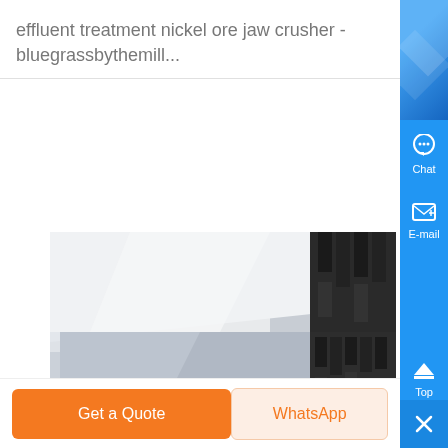effluent treatment nickel ore jaw crusher - bluegrassbythemill...
[Figure (photo): Close-up black and white photograph of a jaw crusher machine showing the crushing mechanism with jagged teeth/plates and mechanical components]
Chat
E-mail
Top
Get a Quote
WhatsApp